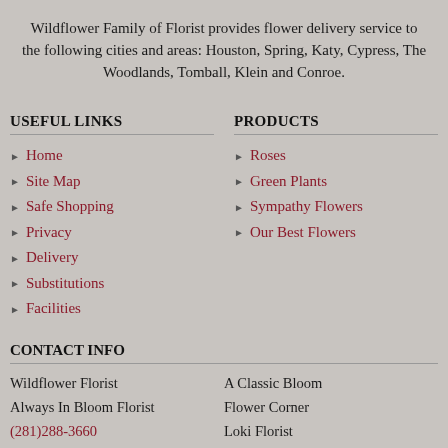Wildflower Family of Florist provides flower delivery service to the following cities and areas: Houston, Spring, Katy, Cypress, The Woodlands, Tomball, Klein and Conroe.
USEFUL LINKS
PRODUCTS
Home
Site Map
Safe Shopping
Privacy
Delivery
Substitutions
Facilities
Roses
Green Plants
Sympathy Flowers
Our Best Flowers
CONTACT INFO
Wildflower Florist
Always In Bloom Florist
(281)288-3660
(281)376-3412
A Classic Bloom
Flower Corner
Loki Florist
6560 Fannin St Ste 230